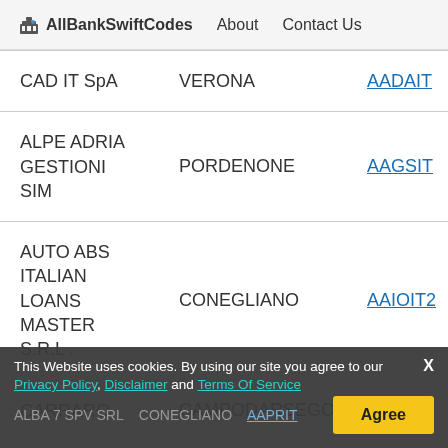AllBankSwiftCodes  About  Contact Us
| Bank Name | City | Swift Code |
| --- | --- | --- |
| CAD IT SpA | VERONA | AADAIT... |
| ALPE ADRIA GESTIONI SIM | PORDENONE | AAGSIT... |
| AUTO ABS ITALIAN LOANS MASTER S.R.L . | CONEGLIANO | AAIOIT2... |
| CARRARO | CAMPODARSEGO | AAOAIT... |
| ALBA 8 SPV S.R.L. | CONEGLIANO | AAPLI... |
| ALBA 7 SPV SRL | CONEGLIANO | AAPRIT... |
This Website uses cookies. By using our site you agree to our X Privacy Policy, Disclaimer and Terms Of Service  Agree